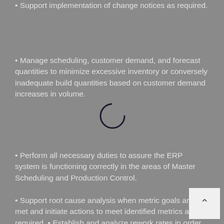• Support implementation of change notices as required.
• Manage scheduling, customer demand, and forecast quantities to minimize excessive inventory or conversely inadequate build quantities based on customer demand increases in volume.
• Perform all necessary duties to assure the ERP system is functioning correctly in the areas of Master Scheduling and Production Control.
• Support root cause analysis when metric goals are not met and initiate actions to meet identified metrics as required. • Establish and analyze rework rates in order to support schedules.